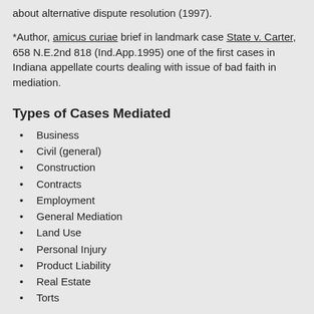about alternative dispute resolution (1997).
*Author, amicus curiae brief in landmark case State v. Carter, 658 N.E.2nd 818 (Ind.App.1995) one of the first cases in Indiana appellate courts dealing with issue of bad faith in mediation.
Types of Cases Mediated
Business
Civil (general)
Construction
Contracts
Employment
General Mediation
Land Use
Personal Injury
Product Liability
Real Estate
Torts
MEMBER: 2001
Follow: